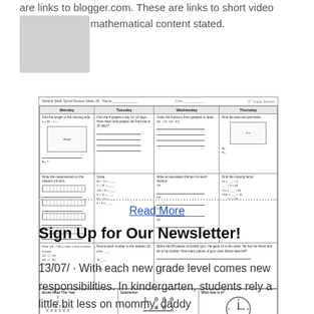are links to blogger.com. These are links to short video lessons on the mathematical content stated.
[Figure (screenshot): Weekly Math Spiral Review worksheet showing a grid of math problems for Monday through Thursday, including fractions, area, measurement, subtraction, a number line plot, and clock reading problems.]
Read More
Sign Up for Our Newsletter!
13/07/ · With each new grade level comes new responsibilities. In kindergarten, students rely a little bit less on mommy, daddy